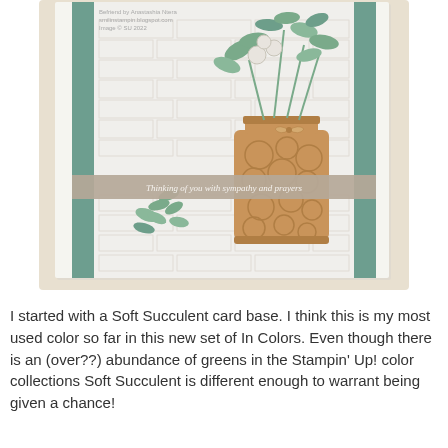[Figure (photo): A handmade greeting card with a Soft Succulent (teal/sage green) card base featuring vertical green stripe borders. The card has a white background with an embossed brick pattern. A tan/golden mason jar with a floral/flower embossed design sits in the center-right, filled with sage green foliage and small round berries/buds. A smaller sage green branch with leaves is in the lower left of the card. A sage/tan horizontal ribbon banner across the middle reads 'Thinking of you with sympathy and prayers' in white italic script. The card is displayed on a light wood-grain background.]
I started with a Soft Succulent card base.  I think this is my most used color so far in this new set of In Colors.  Even though there is an (over??) abundance of greens in the Stampin' Up! color collections Soft Succulent is different enough to warrant being given a chance!